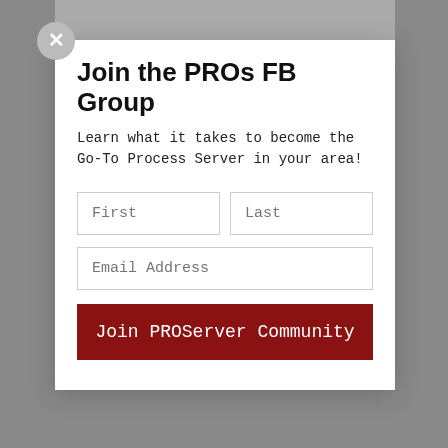Join the PROs FB Group
Learn what it takes to become the Go-To Process Server in your area!
[Figure (screenshot): Web form with First name, Last name, and Email Address input fields, and a dark red 'Join PROServer Community' submit button]